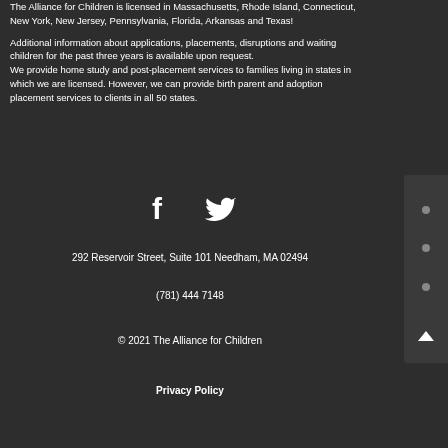The Alliance for Children is licensed in Massachusetts, Rhode Island, Connecticut, New York, New Jersey, Pennsylvania, Florida, Arkansas and Texas!
Additional information about applications, placements, disruptions and waiting children for the past three years is available upon request.
We provide home study and post-placement services to families living in states in which we are licensed. However, we can provide birth parent and adoption placement services to clients in all 50 states.
[Figure (other): Social media icons: Facebook (f) and Twitter (bird) icons in white on dark background]
292 Reservoir Street, Suite 101 Needham, MA 02494
(781) 444 7148
© 2021 The Alliance for Children
Privacy Policy